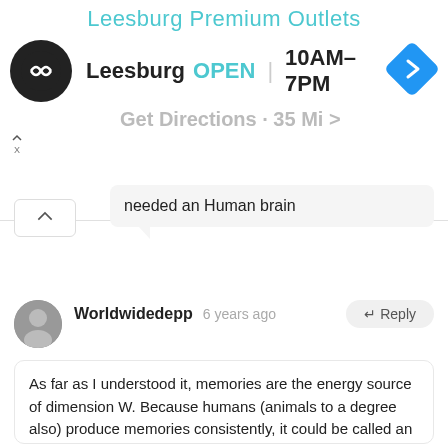Leesburg Premium Outlets
[Figure (screenshot): Leesburg Premium Outlets ad with logo, open status OPEN 10AM-7PM, navigation icon]
needed an Human brain
Worldwidedepp  6 years ago  ↵ Reply
As far as I understood it, memories are the energy source of dimension W. Because humans (animals to a degree also) produce memories consistently, it could be called an unending source of energy.
Frog-Face seems to have found a way to travel inside dimesion W to search for the key (for whatever it is).
Dimension W could be a real treasure chest if you could control the memories there (main goal?!).
SO enough speculating 😄